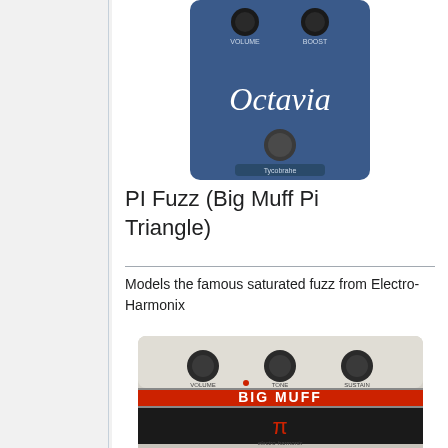[Figure (photo): Blue Octavia guitar effects pedal (Tycobrahe brand) with two knobs labeled VOLUME and BOOST, and a footswitch button, showing scripted 'Octavia' text on the face.]
PI Fuzz (Big Muff Pi Triangle)
Models the famous saturated fuzz from Electro-Harmonix
[Figure (photo): Electro-Harmonix Big Muff Pi guitar effects pedal with three knobs labeled VOLUME, TONE, and SUSTAIN, featuring the large 'BIG MUFF' logo and pi symbol on a white and black body.]